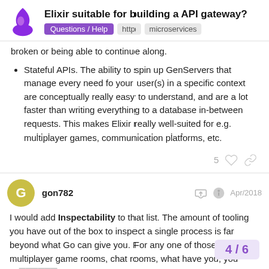Elixir suitable for building a API gateway? | Questions / Help | http | microservices
broken or being able to continue along.
Stateful APIs. The ability to spin up GenServers that manage every need fo your user(s) in a specific context are conceptually really easy to understand, and are a lot faster than writing everything to a database in-between requests. This makes Elixir really well-suited for e.g. multiplayer games, communication platforms, etc.
5 [like] [share]
gon782 Apr/2018
I would add Inspectability to that list. The amount of tooling you have out of the box to inspect a single process is far beyond what Go can give you. For any one of those multiplayer game rooms, chat rooms, what have you, you ca... and see exactly what the internal state is, i...
4 / 6